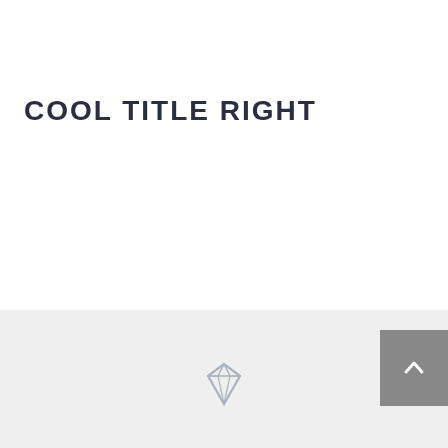COOL TITLE RIGHT
[Figure (illustration): Diamond gem icon in light gray/silver color, outline style]
[Figure (illustration): Scroll-to-top button: dark gray square with white upward chevron arrow]